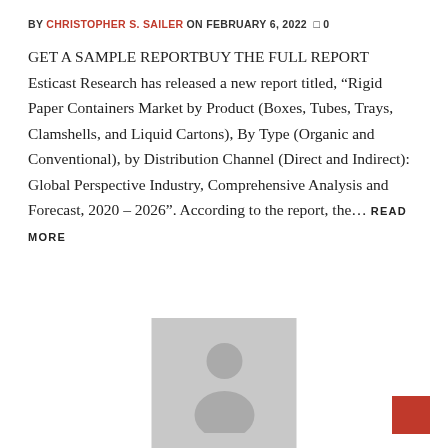BY CHRISTOPHER S. SAILER ON FEBRUARY 6, 2022  0
GET A SAMPLE REPORTBUY THE FULL REPORT Esticast Research has released a new report titled, “Rigid Paper Containers Market by Product (Boxes, Tubes, Trays, Clamshells, and Liquid Cartons), By Type (Organic and Conventional), by Distribution Channel (Direct and Indirect): Global Perspective Industry, Comprehensive Analysis and Forecast, 2020 – 2026”. According to the report, the... READ MORE
[Figure (photo): Gray placeholder avatar image showing a silhouette of a person]